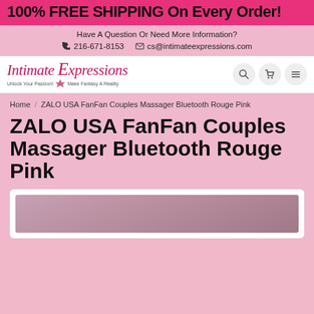100% FREE SHIPPING On Every Order!
Have A Question Or Need More Information?
216-671-8153   cs@intimateexpressions.com
[Figure (logo): Intimate Expressions logo with tagline 'Unlock Your Passion! Make Fantasy A Reality']
Home / ZALO USA FanFan Couples Massager Bluetooth Rouge Pink
ZALO USA FanFan Couples Massager Bluetooth Rouge Pink
[Figure (photo): Product image of ZALO USA FanFan Couples Massager, partially visible at bottom of page]